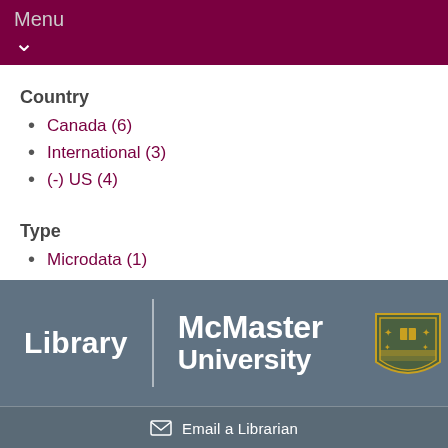Menu ∨
Country
Canada (6)
International (3)
(-) US (4)
Type
Microdata (1)
(-) Statistics (4)
[Figure (logo): McMaster University Library footer logo with 'Library' text, vertical divider, 'McMaster University' text, university crest/shield, and 'Email a Librarian' link with envelope icon. Background is slate grey.]